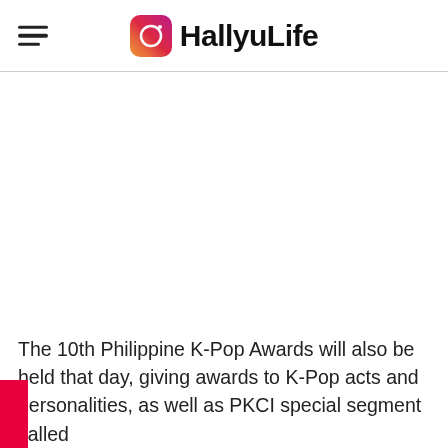HallyuLife
[Figure (other): Blank white content area (image placeholder)]
The 10th Philippine K-Pop Awards will also be held that day, giving awards to K-Pop acts and personalities, as well as PKCI special segment called